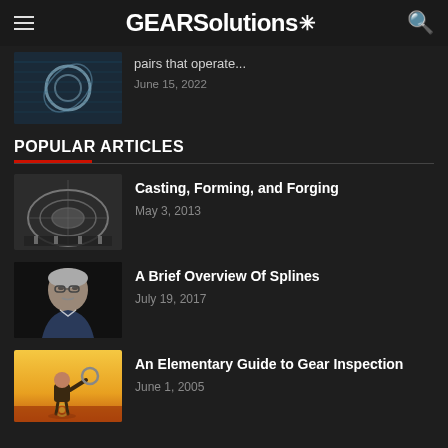GEARSolutions
pairs that operate...
June 15, 2022
POPULAR ARTICLES
Casting, Forming, and Forging
May 3, 2013
A Brief Overview Of Splines
July 19, 2017
An Elementary Guide to Gear Inspection
June 1, 2005